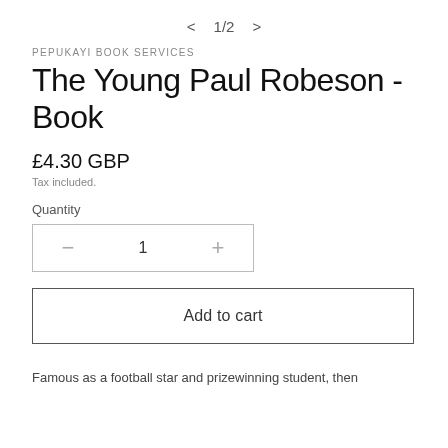< 1/2 >
PEPUKAYI BOOK SERVICES
The Young Paul Robeson - Book
£4.30 GBP
Tax included.
Quantity
− 1 +
Add to cart
Famous as a football star and prizewinning student, then